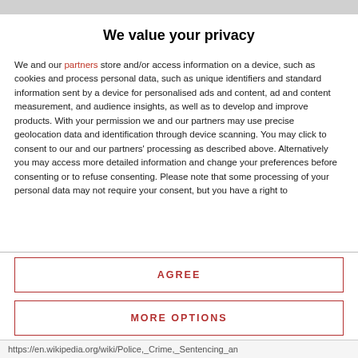We value your privacy
We and our partners store and/or access information on a device, such as cookies and process personal data, such as unique identifiers and standard information sent by a device for personalised ads and content, ad and content measurement, and audience insights, as well as to develop and improve products. With your permission we and our partners may use precise geolocation data and identification through device scanning. You may click to consent to our and our partners' processing as described above. Alternatively you may access more detailed information and change your preferences before consenting or to refuse consenting. Please note that some processing of your personal data may not require your consent, but you have a right to
AGREE
MORE OPTIONS
https://en.wikipedia.org/wiki/Police,_Crime,_Sentencing_an